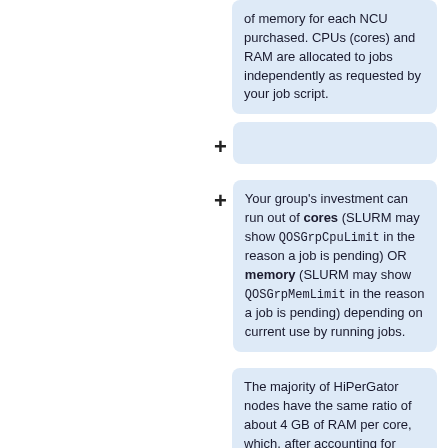of memory for each NCU purchased. CPUs (cores) and RAM are allocated to jobs independently as requested by your job script.
Your group's investment can run out of **cores** (SLURM may show <code>QOSGrpCpuLimit</code> in the reason a job is pending) OR **memory** (SLURM may show <code>QOSGrpMemLimit</code> in the reason a job is pending) depending on current use by running jobs.
The majority of HiPerGator nodes have the same ratio of about 4 GB of RAM per core, which, after accounting for